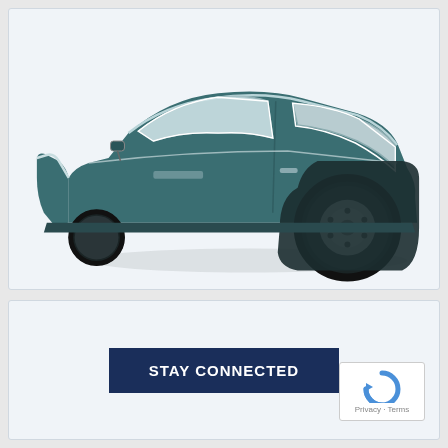[Figure (photo): Side-profile photo of a vintage teal/dark green three-wheeled microcar (two wheels at rear, enclosed cabin with large curved windows) against a white/light grey studio background.]
STAY CONNECTED